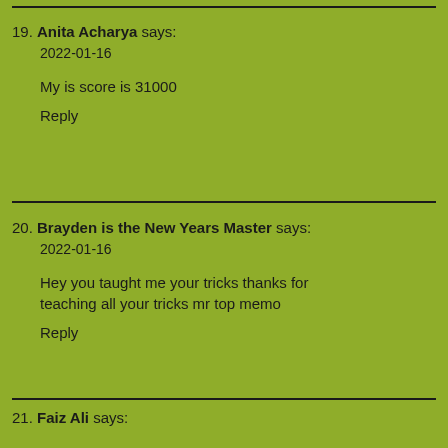19. Anita Acharya says:
2022-01-16

My is score is 31000

Reply
20. Brayden is the New Years Master says:
2022-01-16

Hey you taught me your tricks thanks for teaching all your tricks mr top memo

Reply
21. Faiz Ali says: